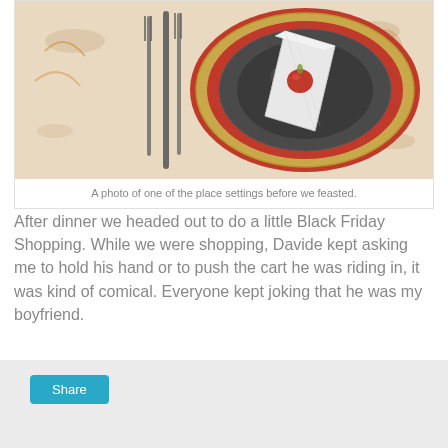[Figure (photo): Overhead view of a place setting with stacked plates (red charger, gold rim, dark inner plate), silverware on the left (forks and knife), a folded white napkin, and a small red apple/pomegranate on top. Floral/rooster tablecloth visible in background.]
A photo of one of the place settings before we feasted.
After dinner we headed out to do a little Black Friday Shopping. While we were shopping, Davide kept asking me to hold his hand or to push the cart he was riding in, it was kind of comical. Everyone kept joking that he was my boyfriend.